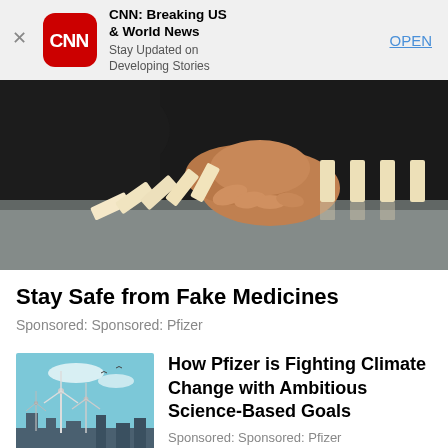[Figure (screenshot): App store ad banner: CNN logo (red rounded square), title 'CNN: Breaking US & World News', subtitle 'Stay Updated on Developing Stories', with OPEN button. Close X at left.]
[Figure (photo): Photo of a hand stopping dominos from falling on a glass table surface, with remaining dominos standing upright.]
Stay Safe from Fake Medicines
Sponsored: Sponsored: Pfizer
[Figure (photo): Thumbnail image of wind turbines against a blue sky with city silhouette, illustrating climate/renewable energy.]
How Pfizer is Fighting Climate Change with Ambitious Science-Based Goals
Sponsored: Sponsored: Pfizer